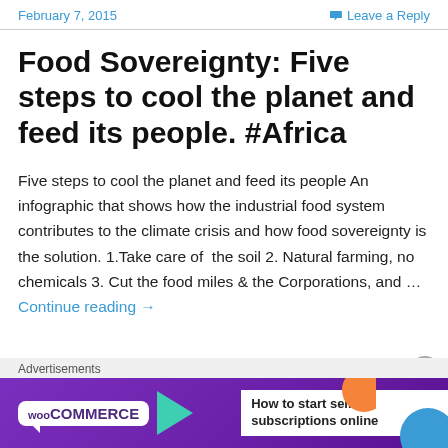February 7, 2015    Leave a Reply
Food Sovereignty: Five steps to cool the planet and feed its people. #Africa
Five steps to cool the planet and feed its people An infographic that shows how the industrial food system contributes to the climate crisis and how food sovereignty is the solution. 1.Take care of  the soil 2. Natural farming, no chemicals 3. Cut the food miles & the Corporations, and … Continue reading →
[Figure (infographic): WooCommerce advertisement banner: purple background with WooCommerce logo, teal arrow, and text 'How to start selling subscriptions online' with orange and blue decorative shapes]